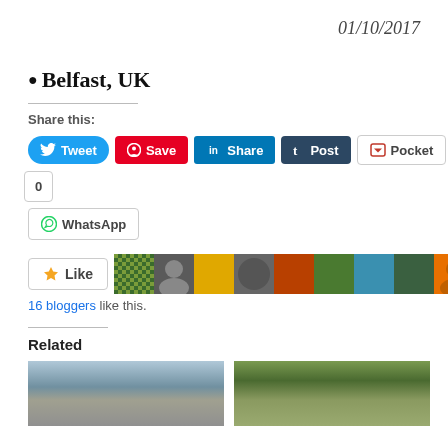01/10/2017
Belfast, UK
Share this:
[Figure (screenshot): Social share buttons: Tweet, Save, Share, Post, Pocket (0), WhatsApp]
[Figure (screenshot): Like button and row of 11 blogger avatars]
16 bloggers like this.
Related
[Figure (photo): Two related article thumbnail images side by side at bottom of page]